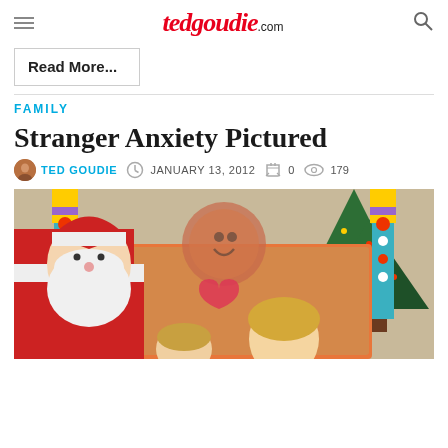tedgoudie .com
Read More...
FAMILY
Stranger Anxiety Pictured
TED GOUDIE   JANUARY 13, 2012   0   179
[Figure (photo): Photo of Santa Claus with a child at a Christmas display with colorful decorations and a Christmas tree in the background]